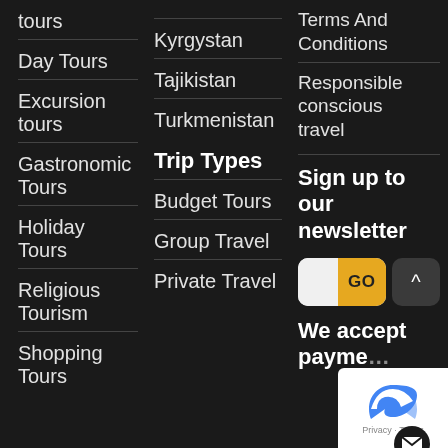tours
Day Tours
Excursion tours
Gastronomic Tours
Holiday Tours
Religious Tourism
Shopping Tours
Kyrgystan
Tajikistan
Turkmenistan
Trip Types
Budget Tours
Group Travel
Private Travel
Terms And Conditions
Responsible conscious travel
Sign up to our newsletter
GO
We accept payment